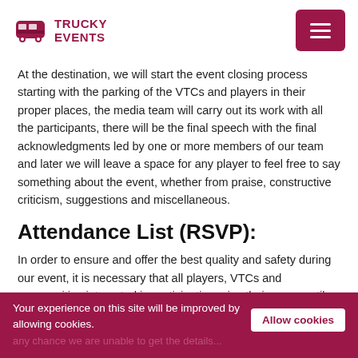TRUCKY EVENTS
At the destination, we will start the event closing process starting with the parking of the VTCs and players in their proper places, the media team will carry out its work with all the participants, there will be the final speech with the final acknowledgments led by one or more members of our team and later we will leave a space for any player to feel free to say something about the event, whether from praise, constructive criticism, suggestions and miscellaneous.
Attendance List (RSVP):
In order to ensure and offer the best quality and safety during our event, it is necessary that all players, VTCs and communities interested in participating, give their name until around the...
Your experience on this site will be improved by allowing cookies.